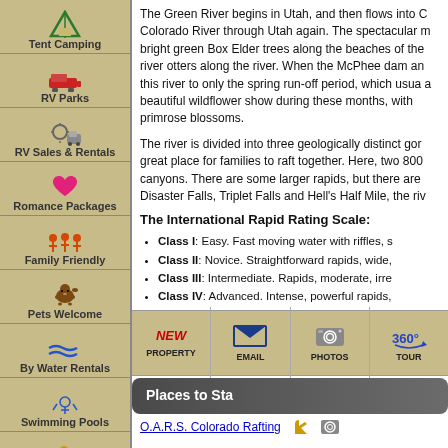Tent Camping
RV Parks
RV Sales & Rentals
Romance Packages
Family Friendly
Pets Welcome
By Water Rentals
Swimming Pools
Guest Horses
Groups/Reunions
Weddings & Elope
The Green River begins in Utah, and then flows into Colorado River through Utah again. The spectacular river, bright green Box Elder trees along the beaches of the river otters along the river. When the McPhee dam and this river to only the spring run-off period, which usually a beautiful wildflower show during these months, with primrose blossoms.
The river is divided into three geologically distinct gorges, great place for families to raft together. Here, two 800-foot canyons. There are some larger rapids, but there are Disaster Falls, Triplet Falls and Hell's Half Mile, the river
The International Rapid Rating Scale:
Class I: Easy. Fast moving water with riffles, s
Class II: Novice. Straightforward rapids, wide,
Class III: Intermediate. Rapids, moderate, irre
Class IV: Advanced. Intense, powerful rapids,
Class V: Expert. Long, obstructed, violent rapi
[Figure (infographic): Bottom toolbar with PROPERTY, EMAIL, PHOTOS, TOUR icons]
Places to Sta
O.A.R.S. Colorado Rafting